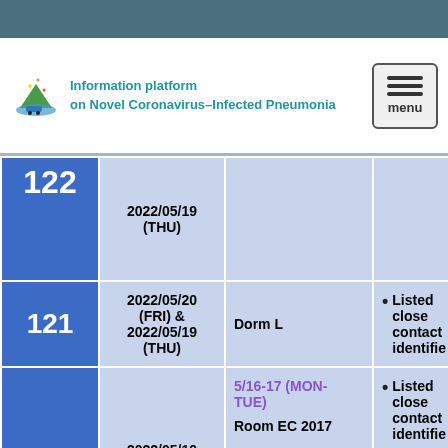Information platform on Novel Coronavirus-Infected Pneumonia
| # | Date | Location | Actions |
| --- | --- | --- | --- |
| 122 | 2022/05/19 (THU) |  |  |
| 121 | 2022/05/20 (FRI) & 2022/05/19 (THU) | Dorm L | Listed close contacts identified |
| 120 | 2022/05/19 (THU) & | 5/16-17 (MON-TUE) Room EC 2017 | Listed close contacts identified
The pla... |